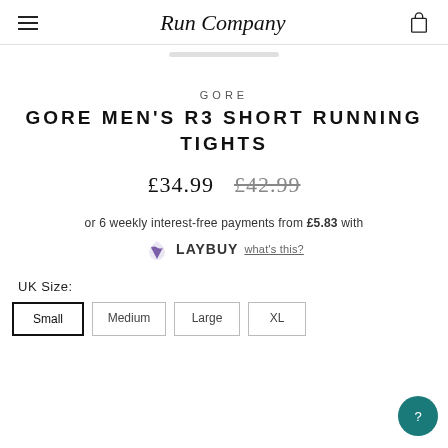Run Company
GORE
GORE MEN'S R3 SHORT RUNNING TIGHTS
£34.99  £42.99
or 6 weekly interest-free payments from £5.83 with LAYBUY what's this?
UK Size:
Small  Medium  Large  XL